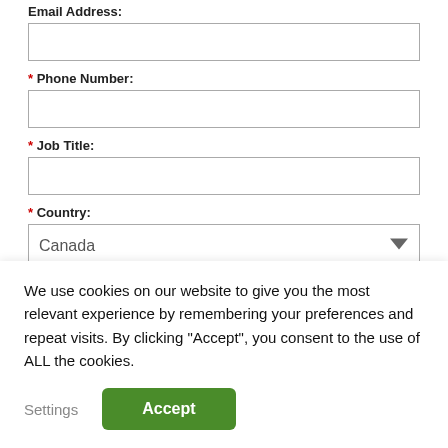Email Address:
* Phone Number:
* Job Title:
* Country: Canada
* Province: Select...
We use cookies on our website to give you the most relevant experience by remembering your preferences and repeat visits. By clicking “Accept”, you consent to the use of ALL the cookies.
Settings
Accept